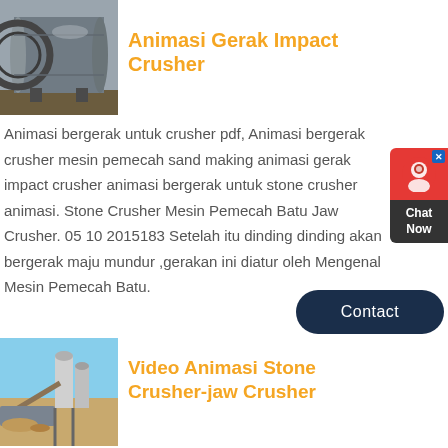[Figure (photo): Ball mill machine in industrial setting, grey cylindrical equipment with gear]
Animasi Gerak Impact Crusher
Animasi bergerak untuk crusher pdf, Animasi bergerak crusher mesin pemecah sand making animasi gerak impact crusher animasi bergerak untuk stone crusher animasi. Stone Crusher Mesin Pemecah Batu Jaw Crusher. 05 10 2015183 Setelah itu dinding dinding akan bergerak maju mundur ,gerakan ini diatur oleh Mengenal Mesin Pemecah Batu.
[Figure (other): Chat Now widget with red icon box and dark label]
[Figure (other): Contact button, dark navy rounded rectangle]
[Figure (photo): Stone crusher plant with silos and conveyor belts at construction site]
Video Animasi Stone Crusher-jaw Crusher